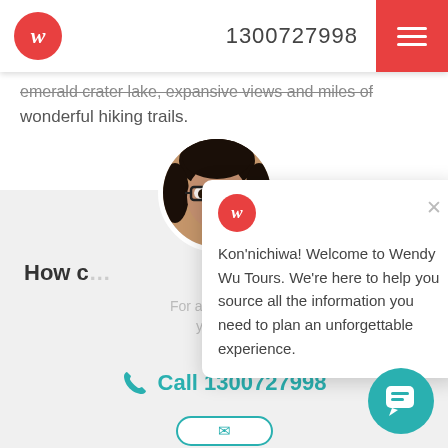Wendy Wu Tours — 1300727998
emerald crater lake, expansive views and miles of wonderful hiking trails.
[Figure (photo): Circular avatar photo of a woman with dark hair and glasses, used as a chat widget avatar]
How c…
For advice on where to g… your perfect tour…
[Figure (infographic): Chat popup card with Wendy Wu Tours logo, close button (×), and welcome message: Kon'nichiwa! Welcome to Wendy Wu Tours. We're here to help you source all the information you need to plan an unforgettable experience.]
Call 1300727998
[Figure (other): Teal circular chat button in bottom-right corner with chat icon]